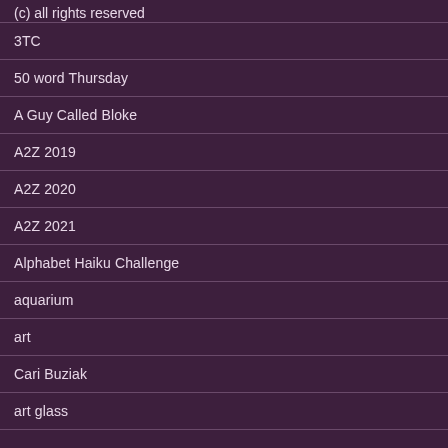(c) all rights reserved
3TC
50 word Thursday
A Guy Called Bloke
A2Z 2019
A2Z 2020
A2Z 2021
Alphabet Haiku Challenge
aquarium
art
Cari Buziak
art glass